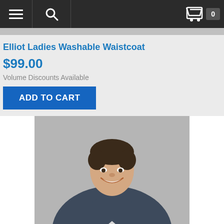Navigation bar with menu, search, cart (0 items)
Elliot Ladies Washable Waistcoat
$99.00
Volume Discounts Available
ADD TO CART
[Figure (photo): Smiling man in dark suit jacket and white shirt, photographed against a grey background, shown from waist up]